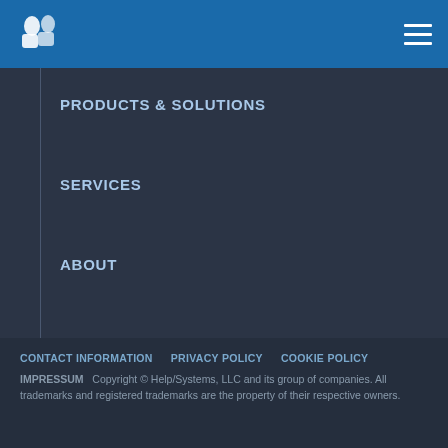Help/Systems logo and hamburger menu
PRODUCTS & SOLUTIONS
SERVICES
ABOUT
RESOURCES
SUPPORT
CONTACT INFORMATION   PRIVACY POLICY   COOKIE POLICY   IMPRESSUM   Copyright © Help/Systems, LLC and its group of companies. All trademarks and registered trademarks are the property of their respective owners.